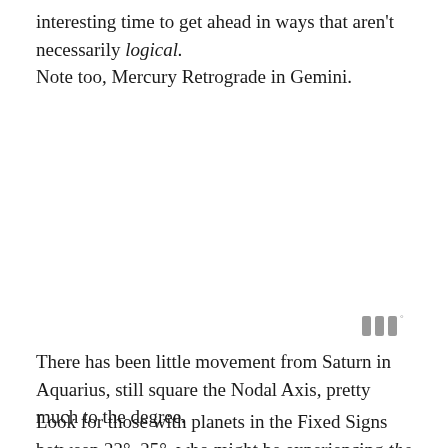interesting time to get ahead in ways that aren't necessarily logical. Note too, Mercury Retrograde in Gemini.
[Figure (other): Small grey icon resembling three vertical bars with a degree symbol, possibly an astrological or weather symbol]
There has been little movement from Saturn in Aquarius, still square the Nodal Axis, pretty much to the degree.
Look for those with planets in the Fixed Signs between 22°–25°, who might be experiencing the most at this time.